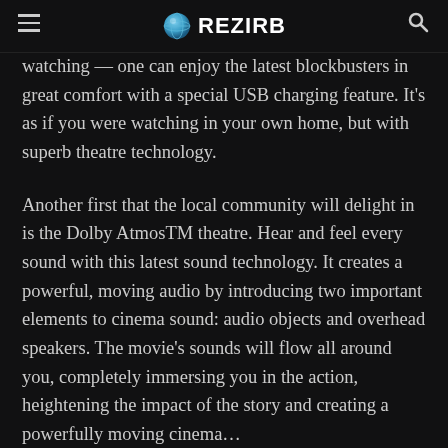REZIRB
watching — one can enjoy the latest blockbusters in great comfort with a special USB charging feature. It's as if you were watching in your own home, but with superb theatre technology.
Another first that the local community will delight in is the Dolby AtmosTM theatre. Hear and feel every sound with this latest sound technology. It creates a powerful, moving audio by introducing two important elements to cinema sound: audio objects and overhead speakers. The movie's sounds will flow all around you, completely immersing you in the action, heightening the impact of the story and creating a powerfully moving cinema…